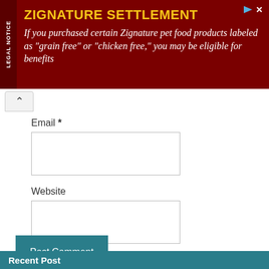[Figure (infographic): Legal notice ad banner for Zignature Settlement with dark red background, yellow title, white body text, and 'LEGAL NOTICE' sidebar]
Email *
Website
Post Comment
Recent Post